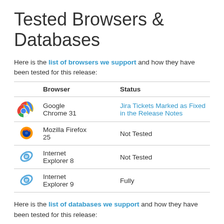Tested Browsers & Databases
Here is the list of browsers we support and how they have been tested for this release:
|  | Browser | Status |
| --- | --- | --- |
| [Chrome icon] | Google Chrome 31 | Jira Tickets Marked as Fixed in the Release Notes |
| [Firefox icon] | Mozilla Firefox 25 | Not Tested |
| [IE icon] | Internet Explorer 8 | Not Tested |
| [IE icon] | Internet Explorer 9 | Fully |
Here is the list of databases we support and how they have been tested for this release: